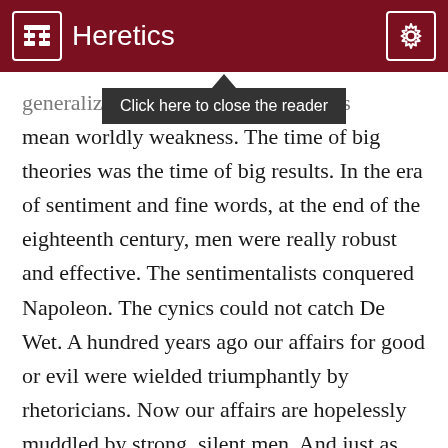Heretics
[Figure (screenshot): Tooltip overlay reading 'Click here to close the reader' with dark background, appearing below the header bar]
generalizing... any means mean worldly weakness. The time of big theories was the time of big results. In the era of sentiment and fine words, at the end of the eighteenth century, men were really robust and effective. The sentimentalists conquered Napoleon. The cynics could not catch De Wet. A hundred years ago our affairs for good or evil were wielded triumphantly by rhetoricians. Now our affairs are hopelessly muddled by strong, silent men. And just as this repudiation of big words and big visions has brought forth a race of small men in politics, so it has brought forth a race of small men in the arts.